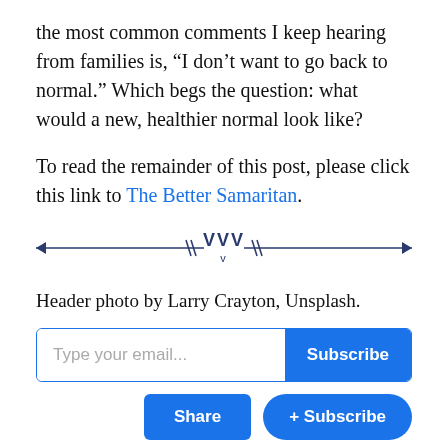the most common comments I keep hearing from families is, “I don’t want to go back to normal.” Which begs the question: what would a new, healthier normal look like?
To read the remainder of this post, please click this link to The Better Samaritan.
[Figure (illustration): Decorative divider with double-headed arrows and three downward chevrons (vvv) in navy blue]
Header photo by Larry Crayton, Unsplash.
Type your email... [Subscribe button]
Share   + Subscribe